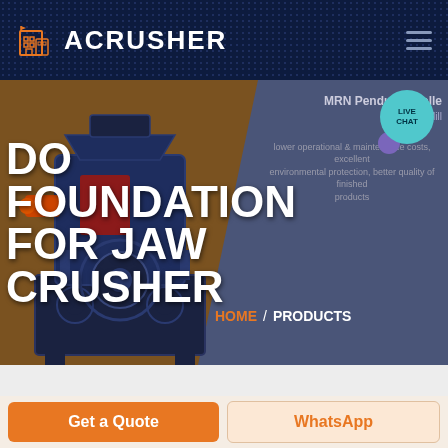ACRUSHER
[Figure (screenshot): Website screenshot showing ACRUSHER brand header with orange building logo on dark navy dotted background, hamburger menu icon on right]
DO FOUNDATION FOR JAW CRUSHER
[Figure (photo): Industrial jaw crusher machine in dark blue/grey tones on brownish background with diagonal split to grey-blue panel showing MRN Pendulum Roller Grinding Mill text and product description]
MRN Pendulum Roller Grinding Mill
lower operational & maintenance costs, excellent environmental protection, better quality of finished products
LIVE CHAT
HOME / PRODUCTS
Get a Quote
WhatsApp